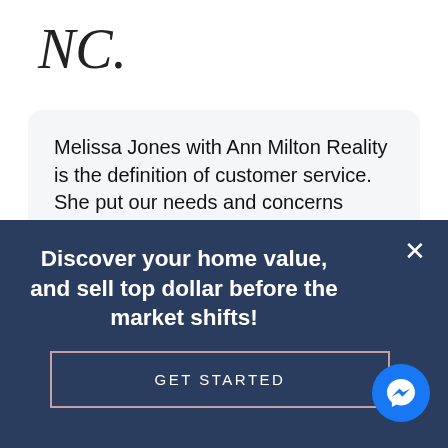[Figure (logo): Stylized cursive 'NC.' monogram logo in dark ink]
Melissa Jones with Ann Milton Reality is the definition of customer service. She put our needs and concerns above anything else. She will you tell you like it is and not waste your time. She has a great team that she is backed by that worked relentlessly for us, as it was not easy. I really
Discover your home value, and sell top dollar before the market shifts!
GET STARTED